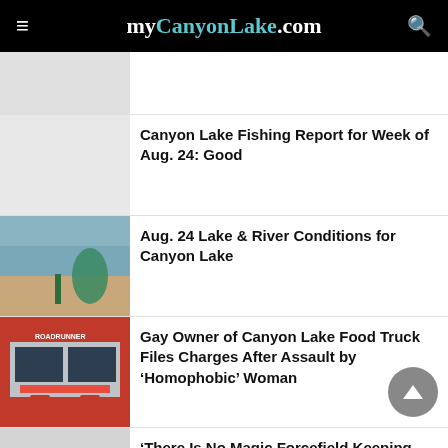myCanyonLake.com
[Figure (photo): Placeholder thumbnail image (gray)]
[Figure (photo): Placeholder thumbnail image (light gray)]
Canyon Lake Fishing Report for Week of Aug. 24: Good
[Figure (photo): Photo of lake shoreline with water and sandy/rocky bank]
Aug. 24 Lake & River Conditions for Canyon Lake
[Figure (photo): Photo of a red food truck with chalkboard menus]
Gay Owner of Canyon Lake Food Truck Files Charges After Assault by ‘Homophobic’ Woman
[Figure (photo): Partial thumbnail image (light gray)]
‘There Is No Magic Forcefield Keeping You From Receiving